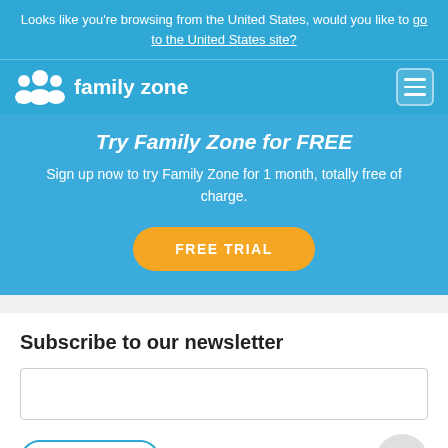Looks like you're browsing from the United States, would you like to go to the United States site?
[Figure (screenshot): Family Zone navigation bar with logo and hamburger menu icon]
Try Family Zone for FREE
Sign up now to try Family Zone for 1 month, totally free of charge.
FREE TRIAL
Subscribe to our newsletter
SUBSCRIBE